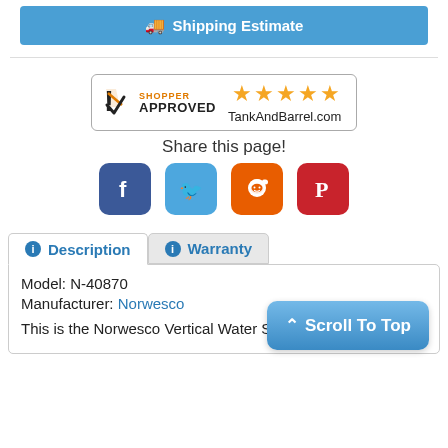[Figure (other): Shipping Estimate button (blue)]
[Figure (other): Shopper Approved 5-star badge for TankAndBarrel.com]
Share this page!
[Figure (other): Social sharing icons: Facebook, Twitter, Reddit, Pinterest]
[Figure (other): Description and Warranty tabs with product info: Model: N-40870, Manufacturer: Norwesco, This is the Norwesco Vertical Water Storage Tank. Scroll To Top button.]